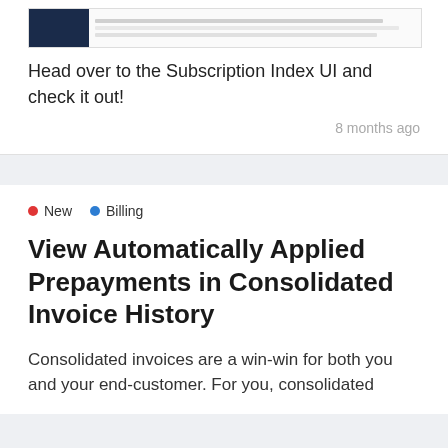[Figure (screenshot): Screenshot of a subscription index UI showing a dark navy left sidebar and a table with rows of data]
Head over to the Subscription Index UI and check it out!
8 months ago
• New  • Billing
View Automatically Applied Prepayments in Consolidated Invoice History
Consolidated invoices are a win-win for both you and your end-customer. For you, consolidated